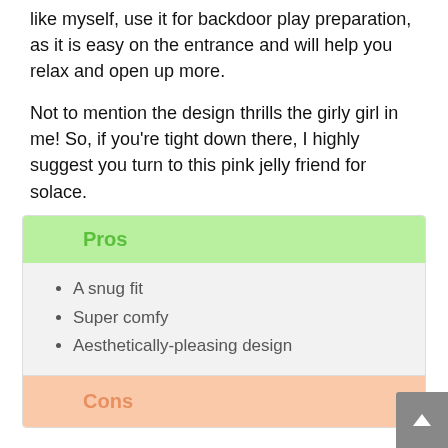like myself, use it for backdoor play preparation, as it is easy on the entrance and will help you relax and open up more.
Not to mention the design thrills the girly girl in me! So, if you're tight down there, I highly suggest you turn to this pink jelly friend for solace.
Pros
A snug fit
Super comfy
Aesthetically-pleasing design
Cons